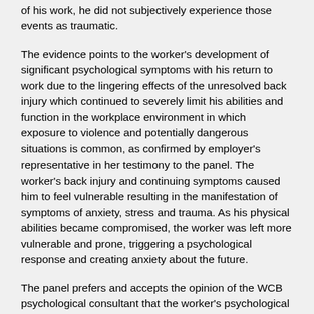of his work, he did not subjectively experience those events as traumatic.
The evidence points to the worker's development of significant psychological symptoms with his return to work due to the lingering effects of the unresolved back injury which continued to severely limit his abilities and function in the workplace environment in which exposure to violence and potentially dangerous situations is common, as confirmed by employer's representative in her testimony to the panel. The worker's back injury and continuing symptoms caused him to feel vulnerable resulting in the manifestation of symptoms of anxiety, stress and trauma. As his physical abilities became compromised, the worker was left more vulnerable and prone, triggering a psychological response and creating anxiety about the future.
The panel prefers and accepts the opinion of the WCB psychological consultant that the worker's psychological injury is secondary to his back injury and is predominantly attributable to the back injury, though also impacted by his work environment in which physical altercations are likely as well as his past experiences in potentially traumatic